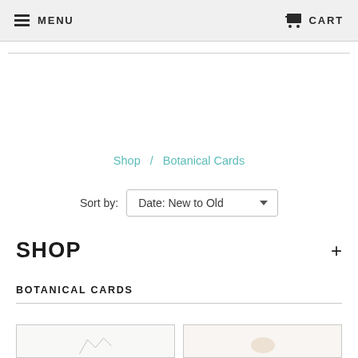MENU   CART
Shop / Botanical Cards
Sort by: Date: New to Old
SHOP +
BOTANICAL CARDS
[Figure (photo): Two product card images partially visible at bottom of page]